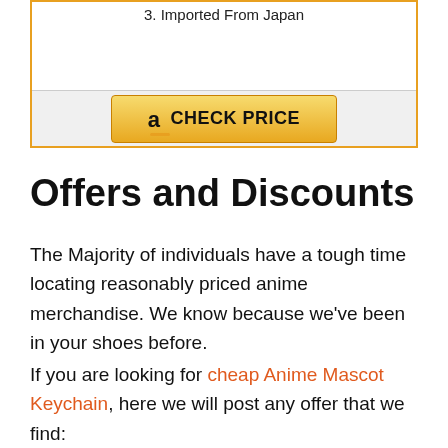3. Imported From Japan
[Figure (other): Amazon CHECK PRICE button inside an orange-bordered product box]
Offers and Discounts
The Majority of individuals have a tough time locating reasonably priced anime merchandise. We know because we've been in your shoes before.
If you are looking for cheap Anime Mascot Keychain, here we will post any offer that we find: